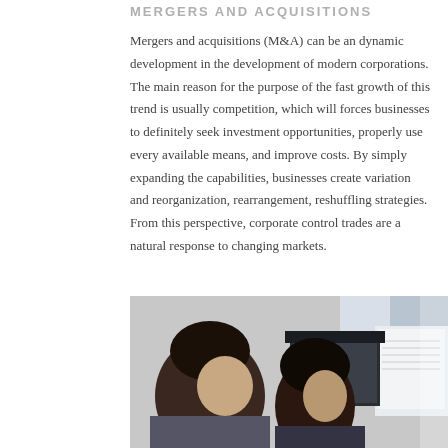MERGERS AND ACQUISITIONS
Mergers and acquisitions (M&A) can be an dynamic development in the development of modern corporations. The main reason for the purpose of the fast growth of this trend is usually competition, which will forces businesses to definitely seek investment opportunities, properly use every available means, and improve costs. By simply expanding the capabilities, businesses create variation and reorganization, rearrangement, reshuffling strategies. From this perspective, corporate control trades are a natural response to changing markets.
[Figure (photo): Two people, likely women, viewed from the side, looking at computer monitors in an office setting.]